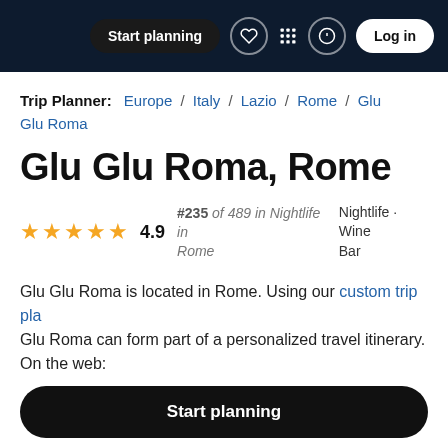Start planning  Log in
Trip Planner: Europe / Italy / Lazio / Rome / Glu Glu Roma
Glu Glu Roma, Rome
4.9 stars — #235 of 489 in Nightlife in Rome — Nightlife · Wine Bar
Glu Glu Roma is located in Rome. Using our custom trip pla... Glu Roma can form part of a personalized travel itinerary. On the web:
Start planning